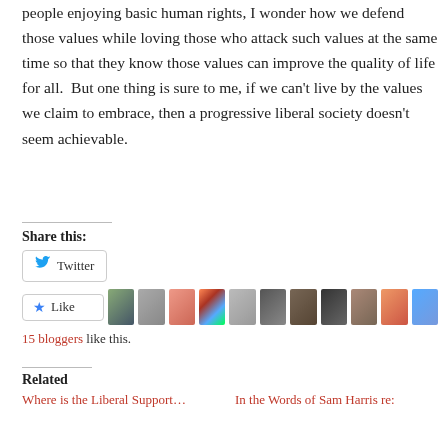people enjoying basic human rights, I wonder how we defend those values while loving those who attack such values at the same time so that they know those values can improve the quality of life for all.  But one thing is sure to me, if we can't live by the values we claim to embrace, then a progressive liberal society doesn't seem achievable.
Share this:
[Figure (screenshot): Twitter share button with bird icon]
[Figure (screenshot): Like button with star icon and 11 blogger avatars]
15 bloggers like this.
Related
Where is the Liberal Support…   In the Words of Sam Harris re: